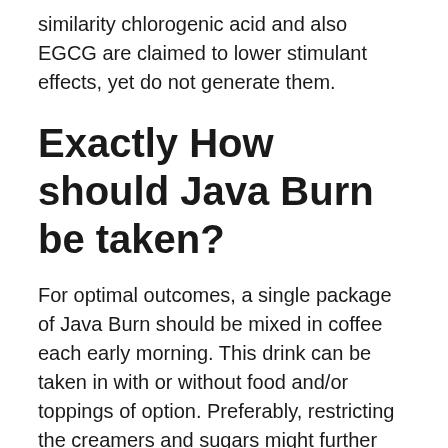similarity chlorogenic acid and also EGCG are claimed to lower stimulant effects, yet do not generate them.
Exactly How should Java Burn be taken?
For optimal outcomes, a single package of Java Burn should be mixed in coffee each early morning. This drink can be taken in with or without food and/or toppings of option. Preferably, restricting the creamers and sugars might further boost weight loss results.
Is Java Burn risk-free?